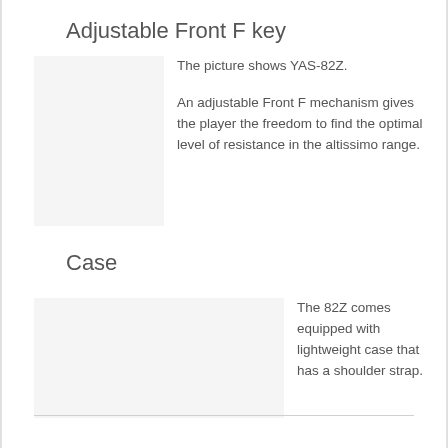Adjustable Front F key
[Figure (photo): Image of YAS-82Z adjustable front F key mechanism]
The picture shows YAS-82Z.

An adjustable Front F mechanism gives the player the freedom to find the optimal level of resistance in the altissimo range.
Case
[Figure (photo): Image of the lightweight case with shoulder strap included with the 82Z]
The 82Z comes equipped with lightweight case that has a shoulder strap.